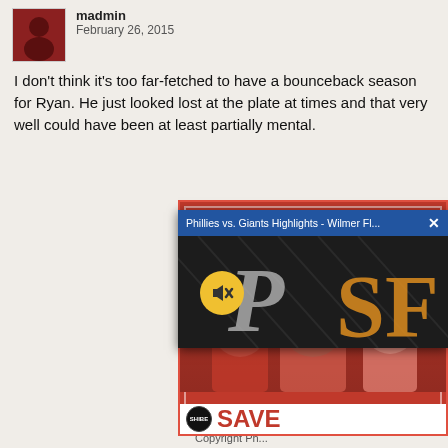madmin
February 26, 2015
I don't think it's too far-fetched to have a bounceback season for Ryan. He just looked lost at the plate at times and that very well could have been at least partially mental.
[Figure (photo): Advertisement for Throwback Phillies Gear at SHIBESPORTS.COM featuring three men posing, with a SHIBE logo and SAVE text at bottom. Overlaid by a video popup showing Phillies vs. Giants Highlights - Wilmer Fl... with Phillies P logo and SF Giants logo visible.]
Copyright Ph...